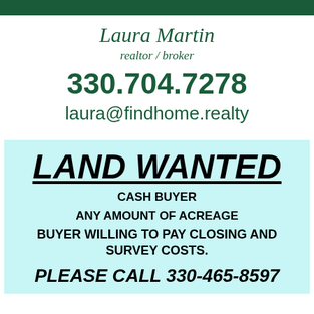[Figure (other): Green banner/logo bar at top]
Laura Martin
realtor / broker
330.704.7278
laura@findhome.realty
LAND WANTED
CASH BUYER
ANY AMOUNT OF ACREAGE
BUYER WILLING TO PAY CLOSING AND SURVEY COSTS.
PLEASE CALL 330-465-8597